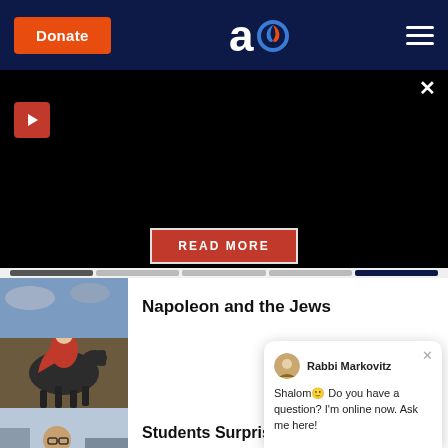Donate | [Aish logo] | [Menu]
[Figure (screenshot): Black video/media embed area with red play button and close X button]
READ MORE
[Figure (photo): Historical painting of Napoleon on horseback]
Napoleon and the Jews
[Figure (photo): Man in red jacket being interviewed with a microphone]
Students Surprise Their Teacher with a Brand New Car
Rabbi Markovitz
Shalom! Do you have a question? I'm online now. Ask me here!